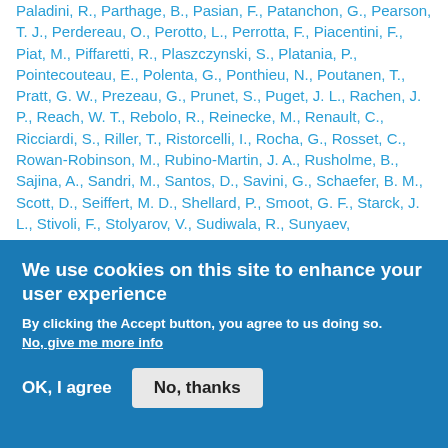Paladini, R., Parthage, B., Pasian, F., Patanchon, G., Pearson, T. J., Perdereau, O., Perotto, L., Perrotta, F., Piacentini, F., Piat, M., Piffaretti, R., Plaszczynski, S., Platania, P., Pointecouteau, E., Polenta, G., Ponthieu, N., Poutanen, T., Pratt, G. W., Prezeau, G., Prunet, S., Puget, J. L., Rachen, J. P., Reach, W. T., Rebolo, R., Reinecke, M., Renault, C., Ricciardi, S., Riller, T., Ristorcelli, I., Rocha, G., Rosset, C., Rowan-Robinson, M., Rubino-Martin, J. A., Rusholme, B., Sajina, A., Sandri, M., Santos, D., Savini, G., Schaefer, B. M., Scott, D., Seiffert, M. D., Shellard, P., Smoot, G. F., Starck, J. L., Stivoli, F., Stolyarov, V., Sudiwala, R., Sunyaev,
We use cookies on this site to enhance your user experience
By clicking the Accept button, you agree to us doing so.
No, give me more info
OK, I agree
No, thanks